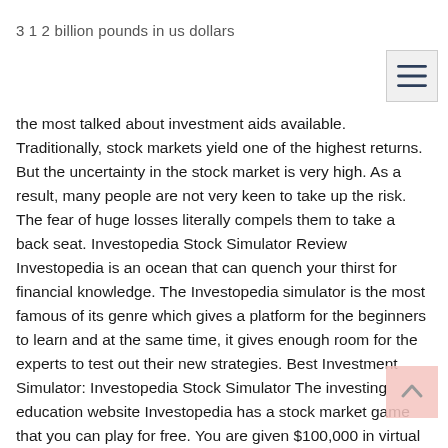3 1 2 billion pounds in us dollars
[Figure (other): Hamburger menu button icon]
the most talked about investment aids available. Traditionally, stock markets yield one of the highest returns. But the uncertainty in the stock market is very high. As a result, many people are not very keen to take up the risk. The fear of huge losses literally compels them to take a back seat. Investopedia Stock Simulator Review Investopedia is an ocean that can quench your thirst for financial knowledge. The Investopedia simulator is the most famous of its genre which gives a platform for the beginners to learn and at the same time, it gives enough room for the experts to test out their new strategies. Best Investment Simulator: Investopedia Stock Simulator The investing education website Investopedia has a stock market game that you can play for free. You are given $100,000 in virtual cash, and you can make as many trades as you want to try to increase your pool of virtual cash. Stock simulators enable one to practice trading without putting any